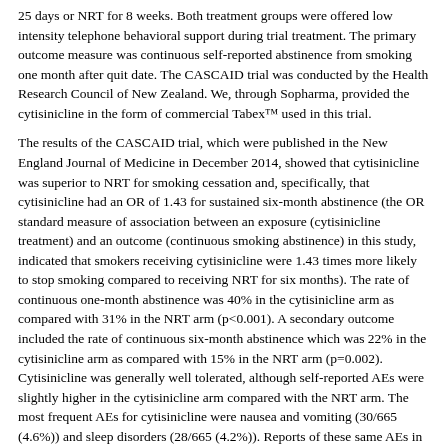25 days or NRT for 8 weeks. Both treatment groups were offered low intensity telephone behavioral support during trial treatment. The primary outcome measure was continuous self-reported abstinence from smoking one month after quit date. The CASCAID trial was conducted by the Health Research Council of New Zealand. We, through Sopharma, provided the cytisinicline in the form of commercial Tabex™ used in this trial.
The results of the CASCAID trial, which were published in the New England Journal of Medicine in December 2014, showed that cytisinicline was superior to NRT for smoking cessation and, specifically, that cytisinicline had an OR of 1.43 for sustained six-month abstinence (the OR standard measure of association between an exposure (cytisinicline treatment) and an outcome (continuous smoking abstinence) in this study, indicated that smokers receiving cytisinicline were 1.43 times more likely to stop smoking compared to receiving NRT for six months). The rate of continuous one-month abstinence was 40% in the cytisinicline arm as compared with 31% in the NRT arm (p<0.001). A secondary outcome included the rate of continuous six-month abstinence which was 22% in the cytisinicline arm as compared with 15% in the NRT arm (p=0.002). Cytisinicline was generally well tolerated, although self-reported AEs were slightly higher in the cytisinicline arm compared with the NRT arm. The most frequent AEs for cytisinicline were nausea and vomiting (30/665 (4.6%)) and sleep disorders (28/665 (4.2%)). Reports of these same AEs in the NRT arm were as follows: nausea and vomiting (2/655 (0.3%)) and sleep disorders (2/655 (0.3%)).
A summary of AEs reported in subjects in the CASCAID trial is included in the table below.